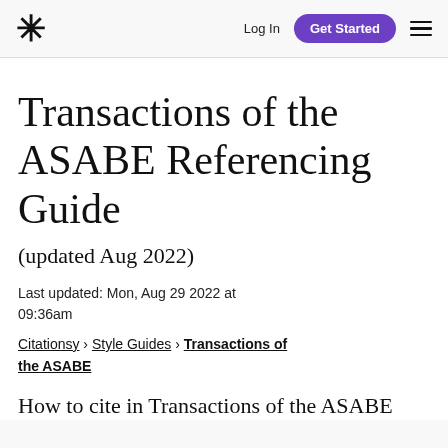* Log In  Get Started  ☰
Transactions of the ASABE Referencing Guide
(updated Aug 2022)
Last updated: Mon, Aug 29 2022 at 09:36am
Citationsy › Style Guides › Transactions of the ASABE
How to cite in Transactions of the ASABE